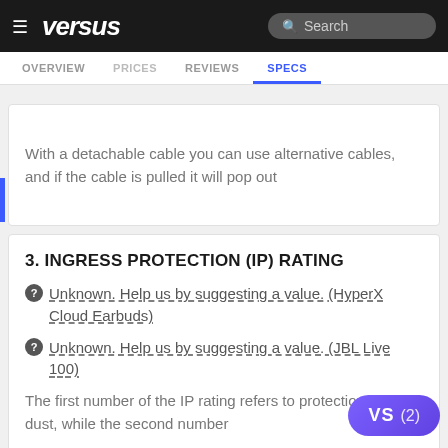versus — Search
OVERVIEW | PRICES | REVIEWS | SPECS
With a detachable cable you can use alternative cables, and if the cable is pulled it will pop out
3. INGRESS PROTECTION (IP) RATING
Unknown. Help us by suggesting a value. (HyperX Cloud Earbuds)
Unknown. Help us by suggesting a value. (JBL Live 100)
The first number of the IP rating refers to protection against dust, while the second number
4. CAN BE FOLDED